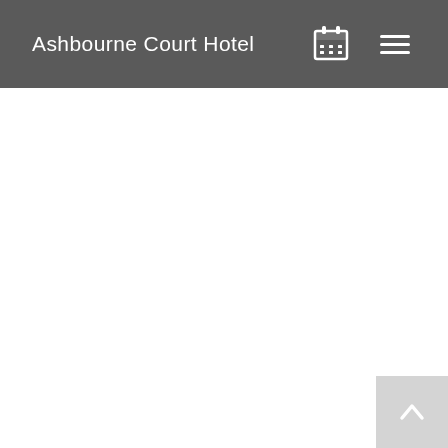Ashbourne Court Hotel
[Figure (screenshot): White blank content area below the hotel navigation header]
[Figure (other): Back to top button with upward chevron arrow, bottom-right corner]